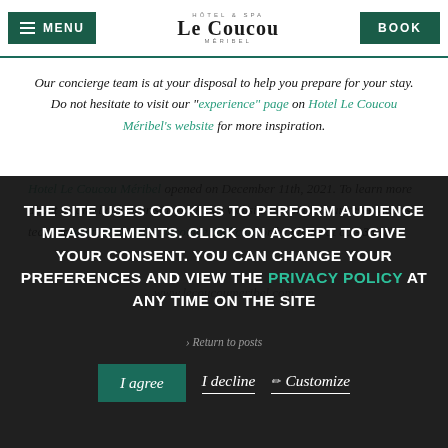MENU | Le Coucou HOTEL | BOOK
Our concierge team is at your disposal to help you prepare for your stay. Do not hesitate to visit our "experience" page on Hotel Le Coucou Méribel's website for more inspiration.
Hotel Le Coucou Méribel opened on December 11th, 2021. To learn more about us and book your stay, visit our website or contact our reservations team at reservations@lecoucoumeribel.com or by phone at au +33 (0)4 ... www.lecoucoumeribel.com
THE SITE USES COOKIES TO PERFORM AUDIENCE MEASUREMENTS. CLICK ON ACCEPT TO GIVE YOUR CONSENT. YOU CAN CHANGE YOUR PREFERENCES AND VIEW THE PRIVACY POLICY AT ANY TIME ON THE SITE
I agree | I decline | Customize